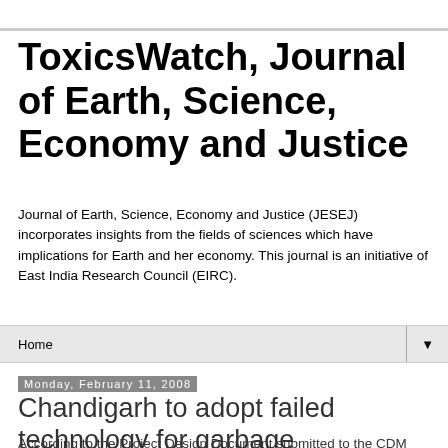ToxicsWatch, Journal of Earth, Science, Economy and Justice
Journal of Earth, Science, Economy and Justice (JESEJ) incorporates insights from the fields of sciences which have implications for Earth and her economy. This journal is an initiative of East India Research Council (EIRC).
Home ▼
Monday, February 11, 2008
Chandigarh to adopt failed technology for garbage
According to the Project Design Document submitted to the CDM Board, Jaiprakash Associates Ltd. (JAL) is setting up